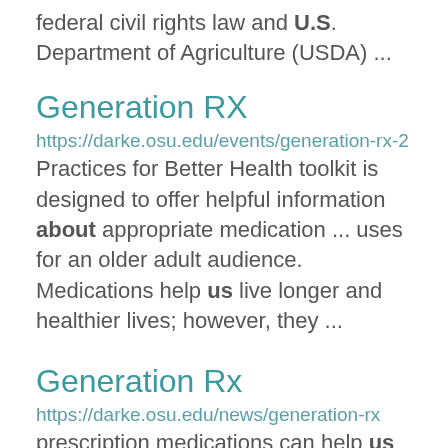federal civil rights law and U.S. Department of Agriculture (USDA) ...
Generation RX
https://darke.osu.edu/events/generation-rx-2
Practices for Better Health toolkit is designed to offer helpful information about appropriate medication ... uses for an older adult audience. Medications help us live longer and healthier lives; however, they ...
Generation Rx
https://darke.osu.edu/news/generation-rx
prescription medications can help us live